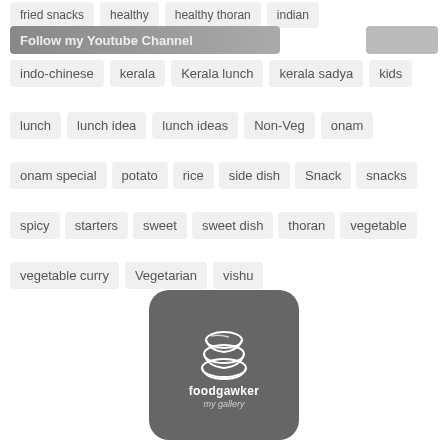fried snacks
healthy
healthy thoran
indian
Follow my Youtube Channel
indo-chinese
kerala
Kerala lunch
kerala sadya
kids
lunch
lunch idea
lunch ideas
Non-Veg
onam
onam special
potato
rice
side dish
Snack
snacks
spicy
starters
sweet
sweet dish
thoran
vegetable
vegetable curry
Vegetarian
vishu
[Figure (logo): foodgawker my gallery logo — dark rounded square with stacked bowls icon and text 'foodgawker my gallery']